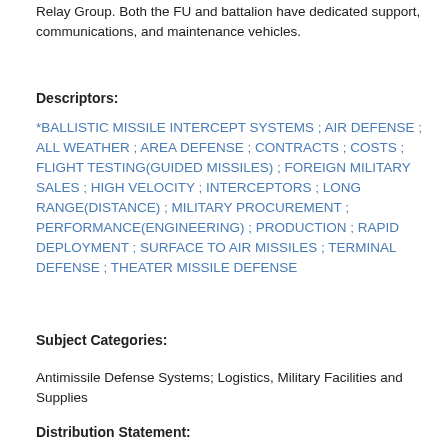Relay Group. Both the FU and battalion have dedicated support, communications, and maintenance vehicles.
Descriptors:
*BALLISTIC MISSILE INTERCEPT SYSTEMS ; AIR DEFENSE ; ALL WEATHER ; AREA DEFENSE ; CONTRACTS ; COSTS ; FLIGHT TESTING(GUIDED MISSILES) ; FOREIGN MILITARY SALES ; HIGH VELOCITY ; INTERCEPTORS ; LONG RANGE(DISTANCE) ; MILITARY PROCUREMENT ; PERFORMANCE(ENGINEERING) ; PRODUCTION ; RAPID DEPLOYMENT ; SURFACE TO AIR MISSILES ; TERMINAL DEFENSE ; THEATER MISSILE DEFENSE
Subject Categories:
Antimissile Defense Systems; Logistics, Military Facilities and Supplies
Distribution Statement: